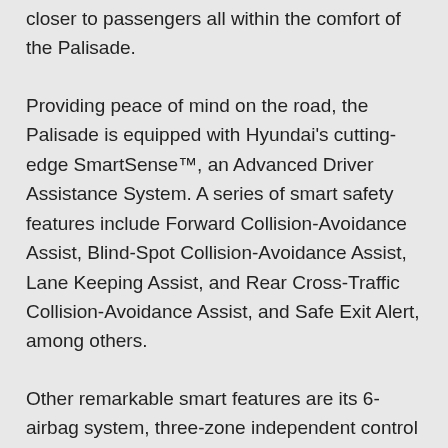closer to passengers all within the comfort of the Palisade.
Providing peace of mind on the road, the Palisade is equipped with Hyundai's cutting-edge SmartSense™, an Advanced Driver Assistance System. A series of smart safety features include Forward Collision-Avoidance Assist, Blind-Spot Collision-Avoidance Assist, Lane Keeping Assist, and Rear Cross-Traffic Collision-Avoidance Assist, and Safe Exit Alert, among others.
Other remarkable smart features are its 6-airbag system, three-zone independent control fully automatic air conditioning, Blind-Spot View Monitor, Head-Up Display and adjustable Smart Power Tailgate to suit preferred height.
The Palisade comes in two power trains, the R 2.2 CRDI Turbo Diesel engine and the 3.8 GDi Petrol engine. Both are available in the seven or eight-seater variants in five exclusive earthy tones; white cream, lagoon silver, steel graphite, moonlight cloud, and timeless black. Black-monotone and navy colour